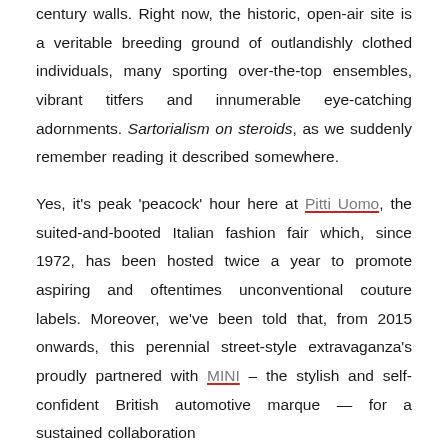century walls. Right now, the historic, open-air site is a veritable breeding ground of outlandishly clothed individuals, many sporting over-the-top ensembles, vibrant titfers and innumerable eye-catching adornments. Sartorialism on steroids, as we suddenly remember reading it described somewhere.
Yes, it's peak 'peacock' hour here at Pitti Uomo, the suited-and-booted Italian fashion fair which, since 1972, has been hosted twice a year to promote aspiring and oftentimes unconventional couture labels. Moreover, we've been told that, from 2015 onwards, this perennial street-style extravaganza's proudly partnered with MINI – the stylish and self-confident British automotive marque — for a sustained collaboration